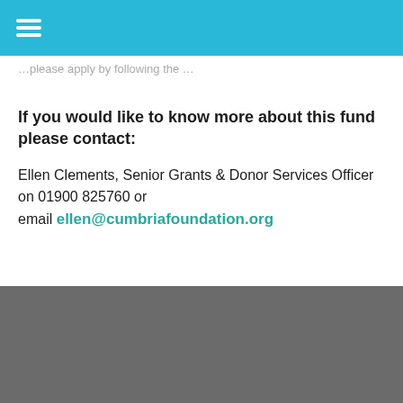If you would like to know more about this fund please contact:
Ellen Clements, Senior Grants & Donor Services Officer on 01900 825760 or email ellen@cumbriafoundation.org
« BACK